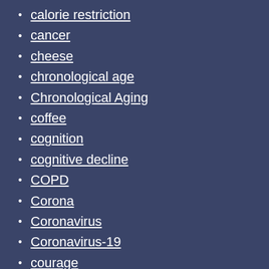calorie restriction
cancer
cheese
chronological age
Chronological Aging
coffee
cognition
cognitive decline
COPD
Corona
Coronavirus
Coronavirus-19
courage
COVID-19
Cross Entropy
crutch